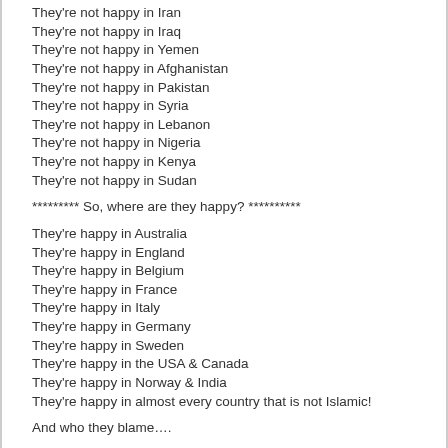They're not happy in Iran
They're not happy in Iraq
They're not happy in Yemen
They're not happy in Afghanistan
They're not happy in Pakistan
They're not happy in Syria
They're not happy in Lebanon
They're not happy in Nigeria
They're not happy in Kenya
They're not happy in Sudan
********* So, where are they happy? **********
They're happy in Australia
They're happy in England
They're happy in Belgium
They're happy in France
They're happy in Italy
They're happy in Germany
They're happy in Sweden
They're happy in the USA & Canada
They're happy in Norway & India
They're happy in almost every country that is not Islamic!
And who they blame….
Not Islam...